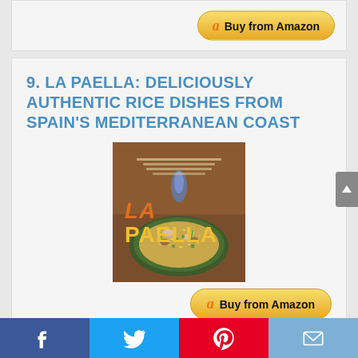[Figure (screenshot): Top portion of previous list item card with Buy from Amazon button]
9. LA PAELLA: DELICIOUSLY AUTHENTIC RICE DISHES FROM SPAIN'S MEDITERRANEAN COAST
[Figure (photo): Book cover of La Paella showing a paella dish with rice, vegetables and meat on a dark plate, with the title LA PAELLA in large orange/yellow letters]
[Figure (screenshot): Buy from Amazon button with Amazon logo]
[Figure (infographic): Social sharing bar with Facebook, Twitter, Pinterest, and Email icons]